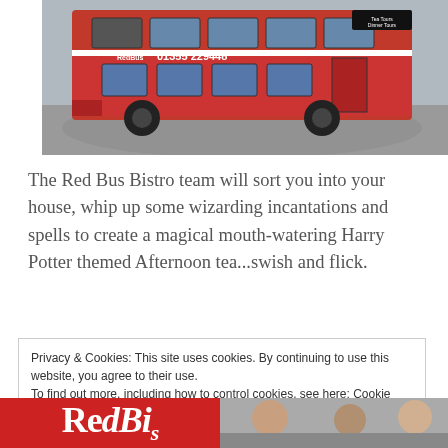[Figure (photo): Red double-decker bus with phone number 01355 229448 on its side, parked on a cobblestone area. Signs on top read 'Tea Tours Dinner Tours'.]
The Red Bus Bistro team will sort you into your house, whip up some wizarding incantations and spells to create a magical mouth-watering Harry Potter themed Afternoon tea...swish and flick.
Privacy & Cookies: This site uses cookies. By continuing to use this website, you agree to their use.
To find out more, including how to control cookies, see here: Cookie Policy
Close and accept
[Figure (photo): Bottom strip showing Red Bus Bistro logo on the left and people photos on the right.]